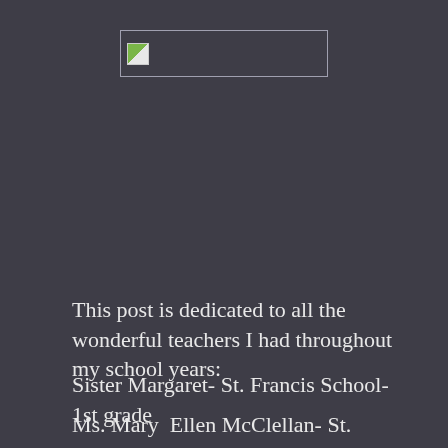[Figure (logo): Small logo/image placeholder with a green and white graphic inside a rectangular bordered box, centered near top of page]
This post is dedicated to all the wonderful teachers I had throughout my school years:
Sister Margaret- St. Francis School- 1st grade
Ms. Mary  Ellen McClellan- St. Francis School-3rd Grade